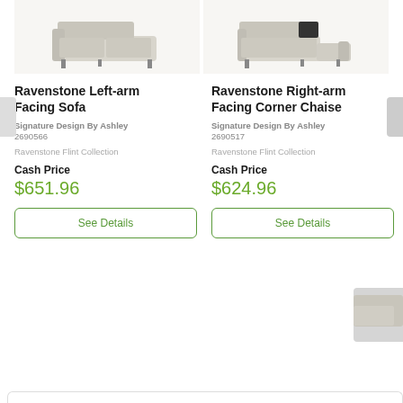[Figure (photo): Ravenstone Left-arm Facing Sofa product image - light beige/flint colored sofa]
[Figure (photo): Ravenstone Right-arm Facing Corner Chaise product image - light beige/flint colored sectional chaise with dark storage]
Ravenstone Left-arm Facing Sofa
Ravenstone Right-arm Facing Corner Chaise
Signature Design By Ashley
2690566
Signature Design By Ashley
2690517
Ravenstone Flint Collection
Ravenstone Flint Collection
Cash Price
$651.96
Cash Price
$624.96
See Details
See Details
[Figure (photo): Partial thumbnail of another sofa product in bottom right corner]